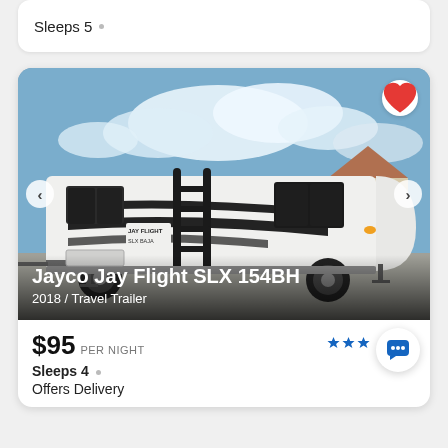Sleeps 5 ·
[Figure (photo): Photo of a Jayco Jay Flight SLX 154BH travel trailer (white with black graphics) parked in a suburban driveway with blue sky and clouds in the background. Navigation arrows on left and right, heart/favorite button top right.]
Jayco Jay Flight SLX 154BH
2018 / Travel Trailer
$95 PER NIGHT
Sleeps 4 ·
Offers Delivery